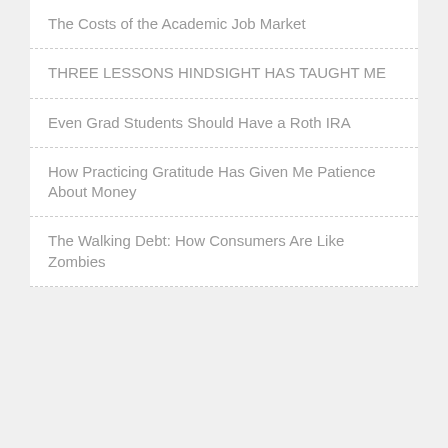The Costs of the Academic Job Market
THREE LESSONS HINDSIGHT HAS TAUGHT ME
Even Grad Students Should Have a Roth IRA
How Practicing Gratitude Has Given Me Patience About Money
The Walking Debt: How Consumers Are Like Zombies